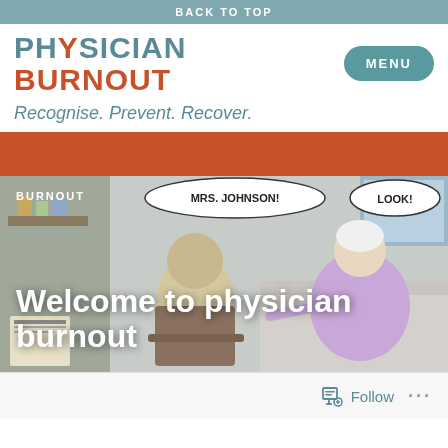BACK TO TOP
PHYSICIAN BURNOUT
Recognise. Prevent. Recover.
[Figure (screenshot): A rust/terracotta colored banner bar]
[Figure (illustration): Cartoon illustration showing a doctor or patient looking exhausted in a chair, with an elderly woman in a purple checked dress pointing. Speech bubbles say 'MRS. JOHNSON!' and 'LOOK!'. Overlaid text reads 'BURNOUT' and 'Welcome to physician burnout'.]
Follow ...